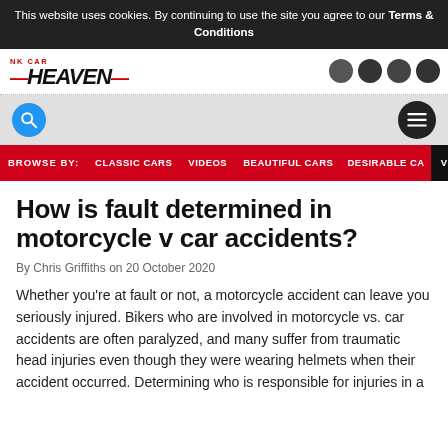This website uses cookies. By continuing to use the site you agree to our Terms & Conditions
[Figure (logo): NK CAR HEAVEN logo with red dashes on either side and social media icons on the right]
[Figure (other): Search bar area with blue search icon on left and dark hamburger menu icon on right]
BROWSE BY: CLASSIC CARS  VIDEOS  BEAUTIFUL CARS  DESIRABLE CA  VIEW ALL
How is fault determined in motorcycle v car accidents?
By Chris Griffiths on 20 October 2020
Whether you're at fault or not, a motorcycle accident can leave you seriously injured. Bikers who are involved in motorcycle vs. car accidents are often paralyzed, and many suffer from traumatic head injuries even though they were wearing helmets when their accident occurred. Determining who is responsible for injuries in a